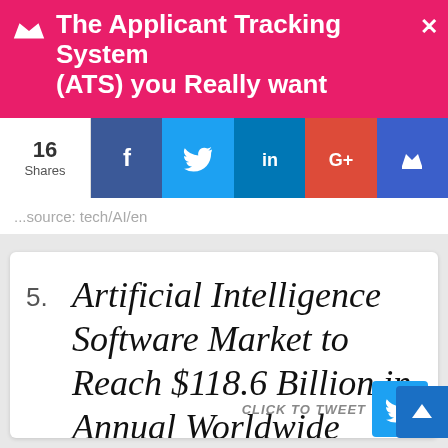The Applicant Tracking System (ATS) you Really want
16 Shares
...source: tech/AI/en
5. Artificial Intelligence Software Market to Reach $118.6 Billion in Annual Worldwide Revenue by 2025
CLICK TO TWEET